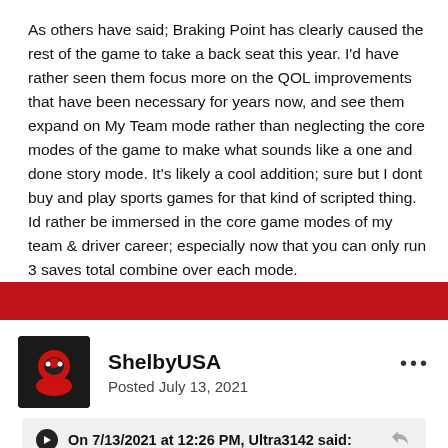As others have said; Braking Point has clearly caused the rest of the game to take a back seat this year.  I'd have rather seen them focus more on the QOL improvements that have been necessary for years now, and see them expand on My Team mode rather than neglecting the core modes of the game to make what sounds like a one and done story mode. It's likely a cool addition; sure but I dont buy and play sports games for that kind of scripted thing.  Id rather be immersed in the core game modes of my team & driver career; especially now that you can only run 3 saves total combine over each mode.
ShelbyUSA
Posted July 13, 2021
On 7/13/2021 at 12:26 PM, Ultra3142 said: